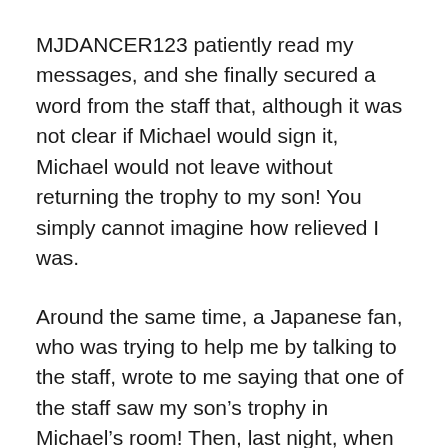MJDANCER123 patiently read my messages, and she finally secured a word from the staff that, although it was not clear if Michael would sign it, Michael would not leave without returning the trophy to my son! You simply cannot imagine how relieved I was.
Around the same time, a Japanese fan, who was trying to help me by talking to the staff, wrote to me saying that one of the staff saw my son's trophy in Michael's room! Then, last night, when Ms. Bain tried to call me to say that the trophy was signed to be collected, I was with my son in Shibuya, coming across with Michael just by chance. I was getting calls from other Michael fans (who gave me the information about Michael's visit to Shibuya) and Ms. Bain could not reach me by the phone!
When we got back, still drunk from the excitement of